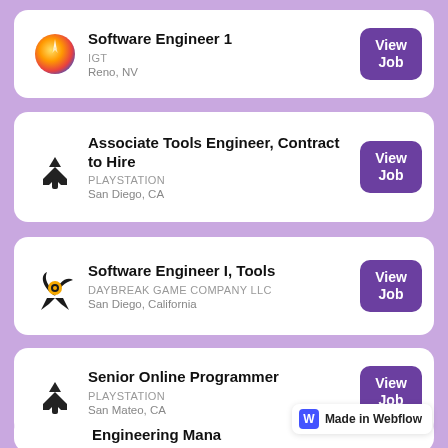Software Engineer 1 | IGT | Reno, NV | View Job
Associate Tools Engineer, Contract to Hire | PLAYSTATION | San Diego, CA | View Job
Software Engineer I, Tools | DAYBREAK GAME COMPANY LLC | San Diego, California | View Job
Senior Online Programmer | PLAYSTATION | San Mateo, CA | View Job
Engineering Manager (partial)
Made in Webflow